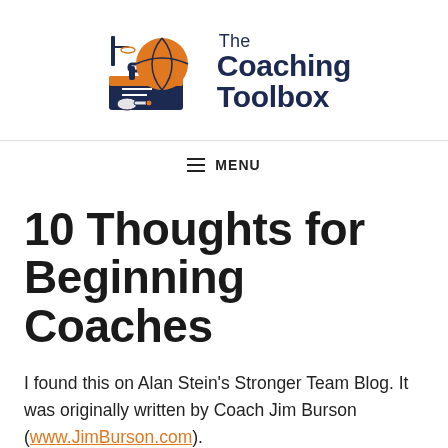[Figure (logo): The Coaching Toolbox logo with basketball and toolbox illustration and text 'The Coaching Toolbox']
≡ MENU
10 Thoughts for Beginning Coaches
I found this on Alan Stein's Stronger Team Blog. It was originally written by Coach Jim Burson (www.JimBurson.com).